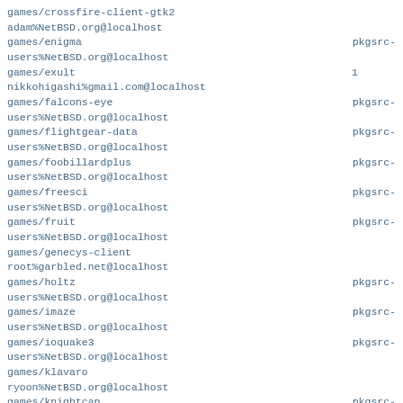games/crossfire-client-gtk2
adam%NetBSD.org@localhost
games/enigma                                          pkgsrc-
users%NetBSD.org@localhost
games/exult                                        1
nikkohigashi%gmail.com@localhost
games/falcons-eye                                      pkgsrc-
users%NetBSD.org@localhost
games/flightgear-data                                  pkgsrc-
users%NetBSD.org@localhost
games/foobillardplus                                   pkgsrc-
users%NetBSD.org@localhost
games/freesci                                          pkgsrc-
users%NetBSD.org@localhost
games/fruit                                            pkgsrc-
users%NetBSD.org@localhost
games/genecys-client
root%garbled.net@localhost
games/holtz                                            pkgsrc-
users%NetBSD.org@localhost
games/imaze                                            pkgsrc-
users%NetBSD.org@localhost
games/ioquake3                                         pkgsrc-
users%NetBSD.org@localhost
games/klavaro
ryoon%NetBSD.org@localhost
games/knightcap                                        pkgsrc-
users%NetBSD.org@localhost
games/lincity-ng
ryoon%NetBSD.org@localhost